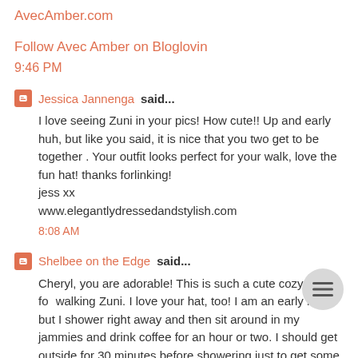AvecAmber.com
Follow Avec Amber on Bloglovin
9:46 PM
Jessica Jannenga said...
I love seeing Zuni in your pics! How cute!! Up and early huh, but like you said, it is nice that you two get to be together . Your outfit looks perfect for your walk, love the fun hat! thanks forlinking!
jess xx
www.elegantlydressedandstylish.com
8:08 AM
Shelbee on the Edge said...
Cheryl, you are adorable! This is such a cute cozy outfit for walking Zuni. I love your hat, too! I am an early riser but I shower right away and then sit around in my jammies and drink coffee for an hour or two. I should get outside for 30 minutes before showering just to get some sort of exercise in